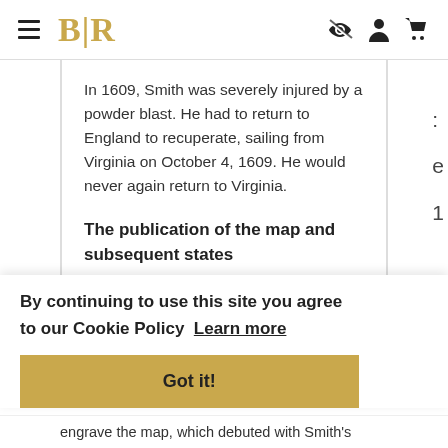BLR [navigation header with hamburger menu and icons]
In 1609, Smith was severely injured by a powder blast. He had to return to England to recuperate, sailing from Virginia on October 4, 1609. He would never again return to Virginia.
The publication of the map and subsequent states
By continuing to use this site you agree to our Cookie Policy  Learn more
Got it!
engrave the map, which debuted with Smith's